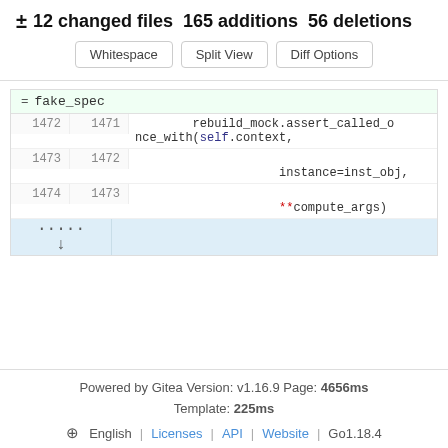± 12 changed files  165 additions  56 deletions
[Figure (screenshot): Diff view buttons: Whitespace, Split View, Diff Options]
[Figure (screenshot): Code diff showing lines 1472-1474 with rebuild_mock.assert_called_once_with(self.context, instance=inst_obj, **compute_args)]
Powered by Gitea Version: v1.16.9 Page: 4656ms
Template: 225ms
⊕ English | Licenses | API | Website | Go1.18.4